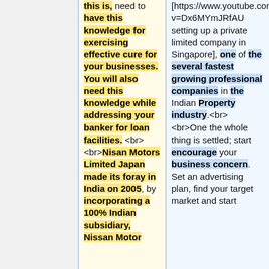this is, need to have this knowledge for exercising effective cure for your businesses. You will also need this knowledge while addressing your banker for loan facilities. <br><br>Nisan Motors Limited Japan made its foray in India on 2005, by incorporating a 100% Indian subsidiary, Nissan Motor
[https://www.youtube.com/watch?v=Dx6MYmJRfAU setting up a private limited company in Singapore], one of the several fastest growing professional companies in the Indian Property industry.<br><br>One the whole thing is settled; start encourage your business concern. Set an advertising plan, find your target market and start